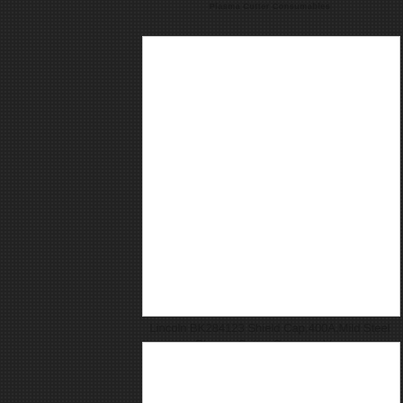Plasma Cutter Consumables
[Figure (photo): Product image placeholder - white box with border for Lincoln BK284123 Shield Cap 400A Mild Steel Plasma Cutter Consumable]
Lincoln BK284123 Shield Cap,400A,Mild Steel Plasma Cutter Consumables
[Figure (photo): Second product image placeholder - white box with border for a plasma cutter consumable]